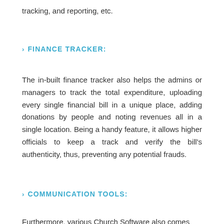tracking, and reporting, etc.
› FINANCE TRACKER:
The in-built finance tracker also helps the admins or managers to track the total expenditure, uploading every single financial bill in a unique place, adding donations by people and noting revenues all in a single location. Being a handy feature, it allows higher officials to keep a track and verify the bill's authenticity, thus, preventing any potential frauds.
› COMMUNICATION TOOLS:
Furthermore, various Church Software also comes with